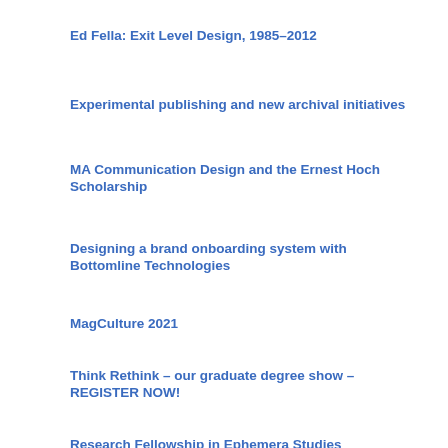Ed Fella: Exit Level Design, 1985–2012
Experimental publishing and new archival initiatives
MA Communication Design and the Ernest Hoch Scholarship
Designing a brand onboarding system with Bottomline Technologies
MagCulture 2021
Think Rethink – our graduate degree show – REGISTER NOW!
Research Fellowship in Ephemera Studies
Our new collaboration with Lantana Publishing